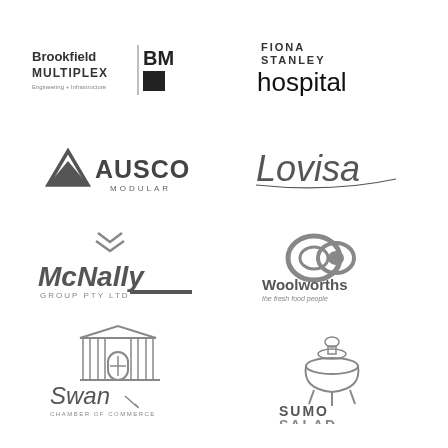[Figure (logo): Brookfield Multiplex BM logo with Engineering + Infrastructure tagline]
[Figure (logo): Fiona Stanley Hospital logo]
[Figure (logo): Ausco Modular logo with triangle icon]
[Figure (logo): Lovisa logo in cursive script]
[Figure (logo): McNally Group PTY LTD logo with chevron icon]
[Figure (logo): Woolworths the fresh food people logo]
[Figure (logo): Swan Chamber of Commerce logo]
[Figure (logo): Sumo Salad logo]